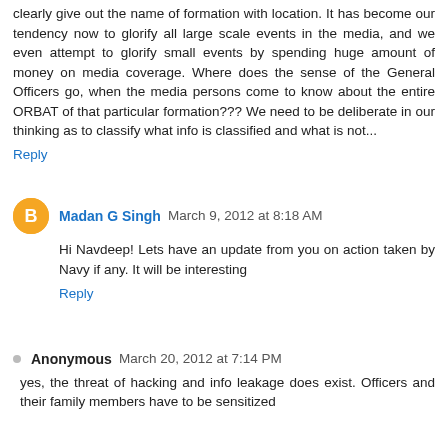clearly give out the name of formation with location. It has become our tendency now to glorify all large scale events in the media, and we even attempt to glorify small events by spending huge amount of money on media coverage. Where does the sense of the General Officers go, when the media persons come to know about the entire ORBAT of that particular formation??? We need to be deliberate in our thinking as to classify what info is classified and what is not...
Reply
Madan G Singh  March 9, 2012 at 8:18 AM
Hi Navdeep! Lets have an update from you on action taken by Navy if any. It will be interesting
Reply
Anonymous  March 20, 2012 at 7:14 PM
yes, the threat of hacking and info leakage does exist. Officers and their family members have to be sensitized